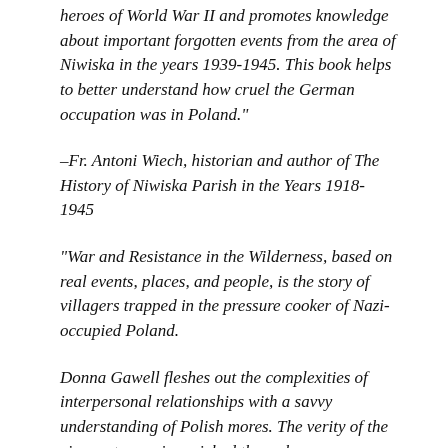heroes of World War II and promotes knowledge about important forgotten events from the area of Niwiska in the years 1939-1945. This book helps to better understand how cruel the German occupation was in Poland."
–Fr. Antoni Wiech, historian and author of The History of Niwiska Parish in the Years 1918-1945
"War and Resistance in the Wilderness, based on real events, places, and people, is the story of villagers trapped in the pressure cooker of Nazi-occupied Poland.
Donna Gawell fleshes out the complexities of interpersonal relationships with a savvy understanding of Polish mores. The verity of the circumstances is enriched through an entertaining storyline that builds empathy and suspense